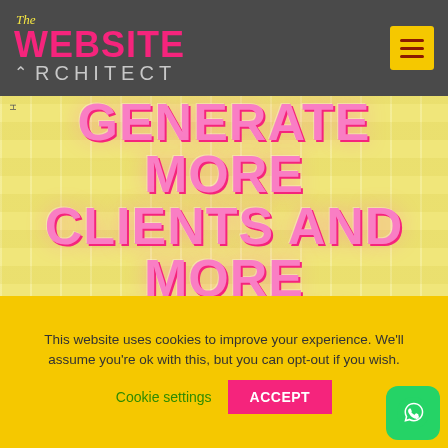[Figure (logo): The Website Architect logo with pink WEBSITE text on dark grey background, with yellow hamburger menu button]
[Figure (photo): Yellow textured background with large pink bold text reading GENERATE MORE CLIENTS AND MORE REVENUE]
Before we get into the HACKS to get you more clients and more revenue, we need to talk about
This website uses cookies to improve your experience. We'll assume you're ok with this, but you can opt-out if you wish. Cookie settings ACCEPT